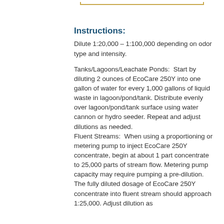Instructions:
Dilute 1:20,000 – 1:100,000 depending on odor type and intensity.
Tanks/Lagoons/Leachate Ponds:  Start by diluting 2 ounces of EcoCare 250Y into one gallon of water for every 1,000 gallons of liquid waste in lagoon/pond/tank. Distribute evenly over lagoon/pond/tank surface using water cannon or hydro seeder. Repeat and adjust dilutions as needed.
Fluent Streams:  When using a proportioning or metering pump to inject EcoCare 250Y concentrate, begin at about 1 part concentrate to 25,000 parts of stream flow. Metering pump capacity may require pumping a pre-dilution. The fully diluted dosage of EcoCare 250Y concentrate into fluent stream should approach 1:25,000. Adjust dilution as